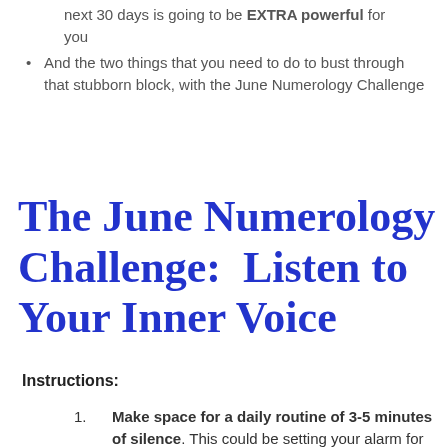next 30 days is going to be EXTRA powerful for you
And the two things that you need to do to bust through that stubborn block, with the June Numerology Challenge
The June Numerology Challenge: Listen to Your Inner Voice
Instructions:
Make space for a daily routine of 3-5 minutes of silence. This could be setting your alarm for 10